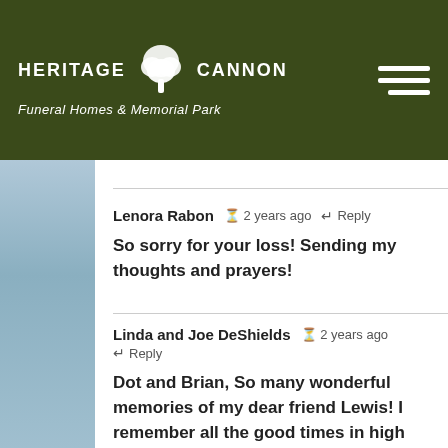HERITAGE CANNON Funeral Homes & Memorial Park
Lenora Rabon  2 years ago  Reply
So sorry for your loss! Sending my thoughts and prayers!
Linda and Joe DeShields  2 years ago  Reply
Dot and Brian, So many wonderful memories of my dear friend Lewis! I remember all the good times in high school, the times Lewis and John Porter came down to see us, getting hamburgers